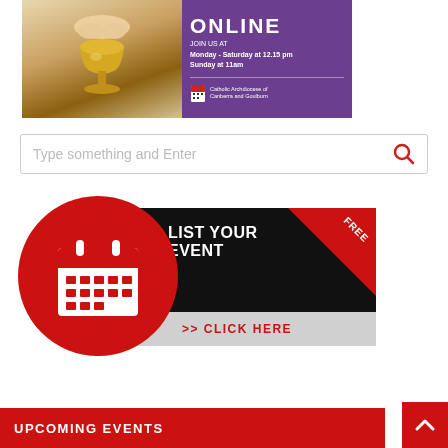[Figure (infographic): Mass online banner with two panels: left shows hands holding a golden chalice, right is purple with 'ONLINE' text, 'JOIN US AT Monday - Saturday at 12.15 pm / Sunday at 11am', and Catholic Archdiocese of Canberra and Goulburn logo.]
[Figure (infographic): Search bar with placeholder text 'Type something and Enter' and red search icon on right.]
[Figure (infographic): List Your Event banner: red circle with calendar icon on left overlapping a black panel with 'LIST YOUR EVENT FREE' text, a red diagonal 'FREE' badge, and a grey bar at bottom saying '>> CLICK HERE'.]
UPCOMING EVENTS